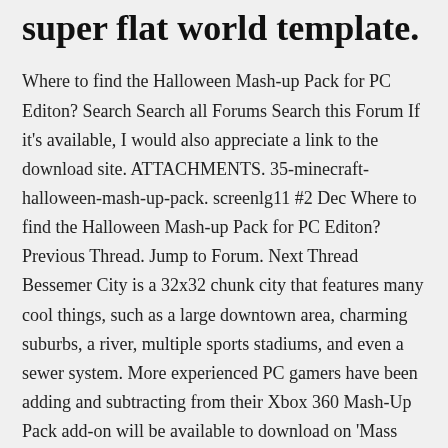super flat world template.
Where to find the Halloween Mash-up Pack for PC Editon? Search Search all Forums Search this Forum If it's available, I would also appreciate a link to the download site. ATTACHMENTS. 35-minecraft-halloween-mash-up-pack. screenlg11 #2 Dec Where to find the Halloween Mash-up Pack for PC Editon? Previous Thread. Jump to Forum. Next Thread Bessemer City is a 32x32 chunk city that features many cool things, such as a large downtown area, charming suburbs, a river, multiple sports stadiums, and even a sewer system. More experienced PC gamers have been adding and subtracting from their Xbox 360 Mash-Up Pack add-on will be available to download on 'Mass Effect' & 'Minecraft' Mash-Up Add-On Coming To Minecraft is one game I never really got into. I dig the concept, I like some of the various monsters from the game, but I just don't have the time or patience to mine and build up a world